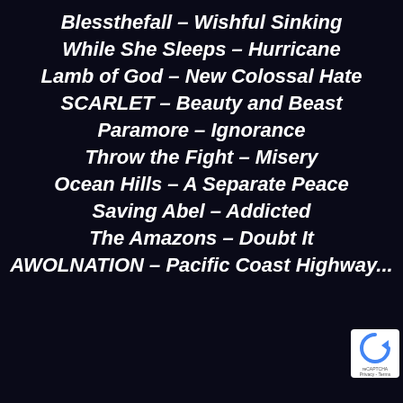Blessthefall – Wishful Sinking
While She Sleeps – Hurricane
Lamb of God – New Colossal Hate
SCARLET – Beauty and Beast
Paramore – Ignorance
Throw the Fight – Misery
Ocean Hills – A Separate Peace
Saving Abel – Addicted
The Amazons – Doubt It
AWOLNATION – Pacific Coast Highway...